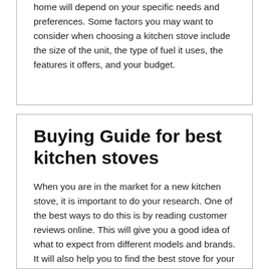home will depend on your specific needs and preferences. Some factors you may want to consider when choosing a kitchen stove include the size of the unit, the type of fuel it uses, the features it offers, and your budget.
Buying Guide for best kitchen stoves
When you are in the market for a new kitchen stove, it is important to do your research. One of the best ways to do this is by reading customer reviews online. This will give you a good idea of what to expect from different models and brands. It will also help you to find the best stove for your needs and budget.